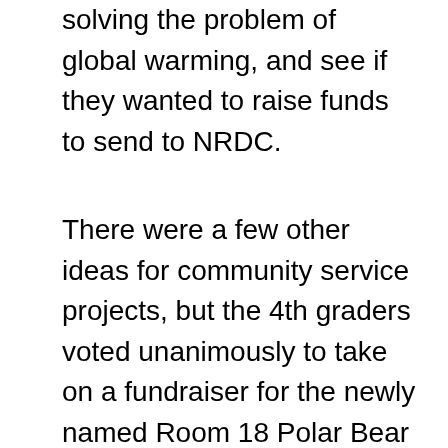solving the problem of global warming, and see if they wanted to raise funds to send to NRDC.
There were a few other ideas for community service projects, but the 4th graders voted unanimously to take on a fundraiser for the newly named Room 18 Polar Bear Project. They really liked the idea of doing something in response to the article we had read, which seemed to have created significant empathy for the polar bears. Taking into account that my school's families are generally poor (71 percent of students receive free or reduced lunch), I adopted a very modest attitude